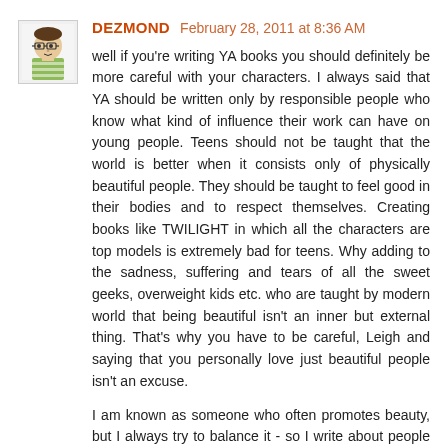[Figure (illustration): Avatar illustration of a cartoon character with glasses and a striped shirt]
DEZMOND February 28, 2011 at 8:36 AM
well if you're writing YA books you should definitely be more careful with your characters. I always said that YA should be written only by responsible people who know what kind of influence their work can have on young people. Teens should not be taught that the world is better when it consists only of physically beautiful people. They should be taught to feel good in their bodies and to respect themselves. Creating books like TWILIGHT in which all the characters are top models is extremely bad for teens. Why adding to the sadness, suffering and tears of all the sweet geeks, overweight kids etc. who are taught by modern world that being beautiful isn't an inner but external thing. That's why you have to be careful, Leigh and saying that you personally love just beautiful people isn't an excuse.

I am known as someone who often promotes beauty, but I always try to balance it - so I write about people who also have inner talents.
Reply